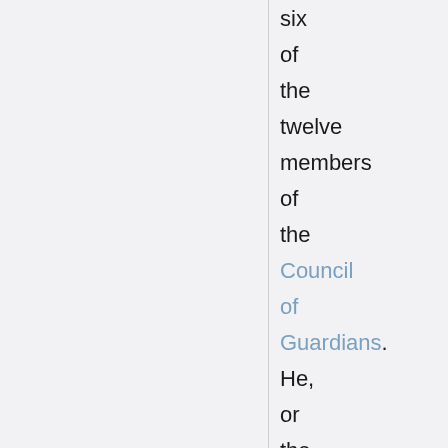six of the twelve members of the Council of Guardians. He, or the council of